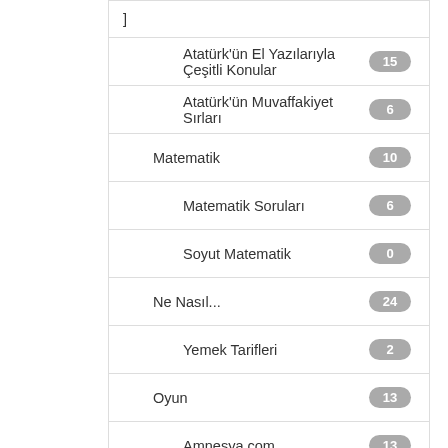]
Atatürk'ün El Yazılarıyla Çeşitli Konular
Atatürk'ün Muvaffakiyet Sırları
Matematik
Matematik Soruları
Soyut Matematik
Ne Nasıl...
Yemek Tarifleri
Oyun
Amnesya.com
Para Kazanma Sanatı